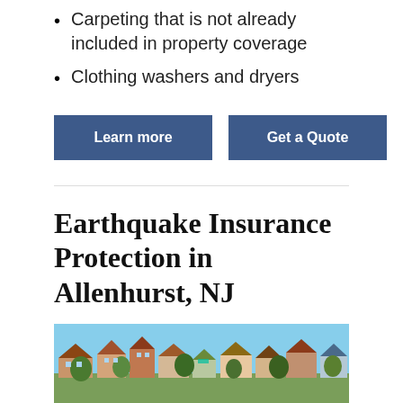Carpeting that is not already included in property coverage
Clothing washers and dryers
Learn more
Get a Quote
Earthquake Insurance Protection in Allenhurst, NJ
[Figure (photo): Aerial view of residential houses and buildings in a neighborhood, with colorful rooftops and trees visible.]